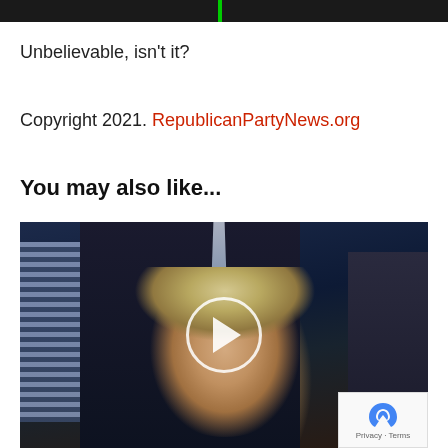[Figure (photo): Top portion of a dark image with a green bar visible]
Unbelievable, isn't it?
Copyright 2021. RepublicanPartyNews.org
You may also like...
[Figure (photo): Video thumbnail showing a woman laughing in a crowd with a play button overlay. reCAPTCHA badge visible in bottom right corner.]